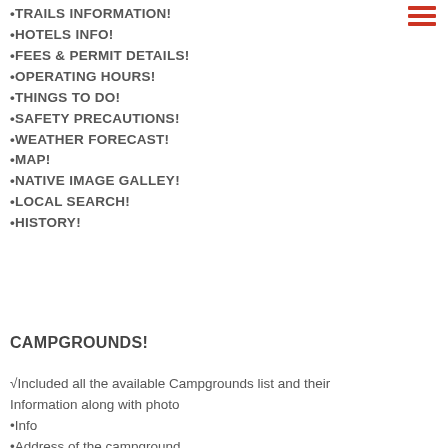•TRAILS INFORMATION!
•HOTELS INFO!
•FEES & PERMIT DETAILS!
•OPERATING HOURS!
•THINGS TO DO!
•SAFETY PRECAUTIONS!
•WEATHER FORECAST!
•MAP!
•NATIVE IMAGE GALLEY!
•LOCAL SEARCH!
•HISTORY!
CAMPGROUNDS!
√Included all the available Campgrounds list and their Information along with photo
•Info
•Address of the campground